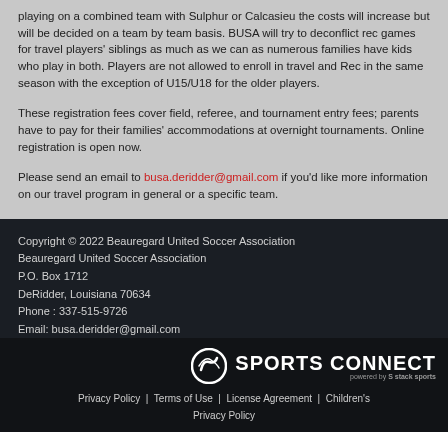playing on a combined team with Sulphur or Calcasieu the costs will increase but will be decided on a team by team basis. BUSA will try to deconflict rec games for travel players' siblings as much as we can as numerous families have kids who play in both. Players are not allowed to enroll in travel and Rec in the same season with the exception of U15/U18 for the older players.
These registration fees cover field, referee, and tournament entry fees; parents have to pay for their families' accommodations at overnight tournaments. Online registration is open now.
Please send an email to busa.deridder@gmail.com if you'd like more information on our travel program in general or a specific team.
Copyright © 2022 Beauregard United Soccer Association
Beauregard United Soccer Association
P.O. Box 1712
DeRidder, Louisiana 70634
Phone : 337-515-9726
Email: busa.deridder@gmail.com
[Figure (logo): Sports Connect powered by Stack Sports logo]
Privacy Policy | Terms of Use | License Agreement | Children's Privacy Policy